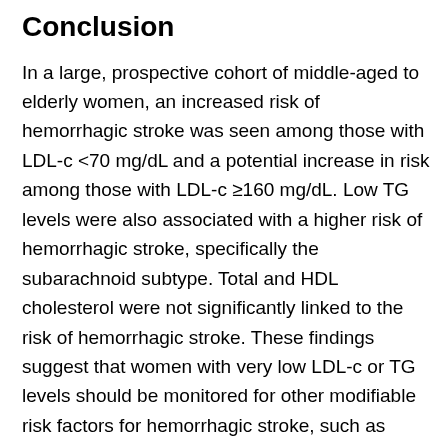Conclusion
In a large, prospective cohort of middle-aged to elderly women, an increased risk of hemorrhagic stroke was seen among those with LDL-c <70 mg/dL and a potential increase in risk among those with LDL-c ≥160 mg/dL. Low TG levels were also associated with a higher risk of hemorrhagic stroke, specifically the subarachnoid subtype. Total and HDL cholesterol were not significantly linked to the risk of hemorrhagic stroke. These findings suggest that women with very low LDL-c or TG levels should be monitored for other modifiable risk factors for hemorrhagic stroke, such as hypertension and smoking, to minimize their overall risk of hemorrhagic stroke.